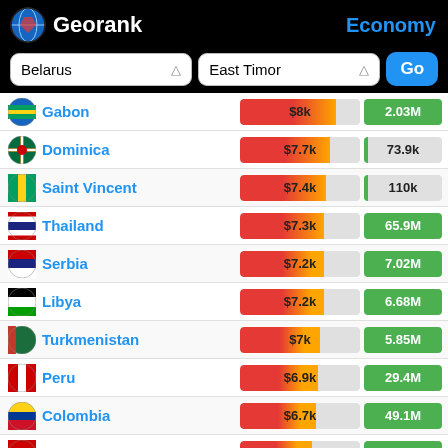Georank — Economy
| Country | GDP per capita | Population |
| --- | --- | --- |
| Gabon | $8k | 2.03M |
| Dominica | $7.7k | 73.9k |
| Saint Vincent | $7.4k | 110k |
| Thailand | $7.3k | 65.9M |
| Serbia | $7.2k | 7.02M |
| Libya | $7.2k | 6.68M |
| Turkmenistan | $7k | 5.85M |
| Peru | $6.9k | 29.4M |
| Colombia | $6.7k | 49.1M |
| South Africa | $6.4k | 57.7M |
| Ecuador | $6.3k | 16.6M |